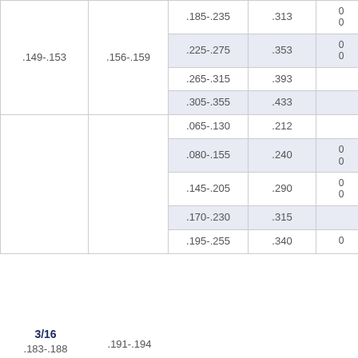| col1 | col2 | col3 | col4 | col5 |
| --- | --- | --- | --- | --- |
| .149-.153 | .156-.159 | .185-.235 | .313 | 0
0 |
|  |  | .225-.275 | .353 | 0
0 |
|  |  | .265-.315 | .393 |  |
|  |  | .305-.355 | .433 |  |
|  |  | .065-.130 | .212 |  |
|  |  | .080-.155 | .240 | 0
0 |
|  |  | .145-.205 | .290 | 0
0 |
|  |  | .170-.230 | .315 |  |
| 3/16
.183-.188 | .191-.194 | .195-.255 | .340 | 0 |